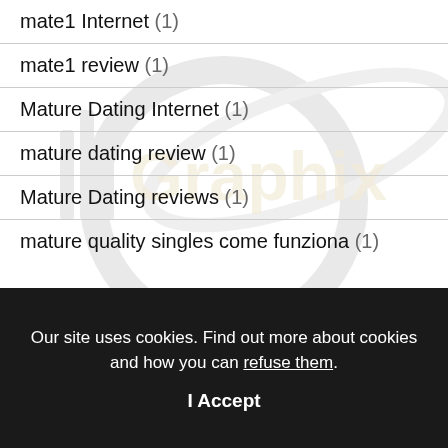mate1 Internet (1)
mate1 review (1)
Mature Dating Internet (1)
mature dating review (1)
Mature Dating reviews (1)
mature quality singles come funziona (1)
[Figure (logo): IllGraphix watermark logo with gold and silver metallic lettering and orbital ring graphic, shown faded in background]
Our site uses cookies. Find out more about cookies and how you can refuse them.
I Accept